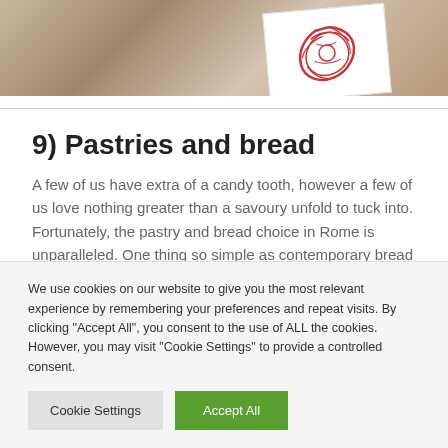[Figure (photo): Partial view of a card with a red decorative design on a wooden table surface]
9) Pastries and bread
A few of us have extra of a candy tooth, however a few of us love nothing greater than a savoury unfold to tuck into. Fortunately, the pastry and bread choice in Rome is unparalleled. One thing so simple as contemporary bread
We use cookies on our website to give you the most relevant experience by remembering your preferences and repeat visits. By clicking “Accept All”, you consent to the use of ALL the cookies. However, you may visit “Cookie Settings” to provide a controlled consent.